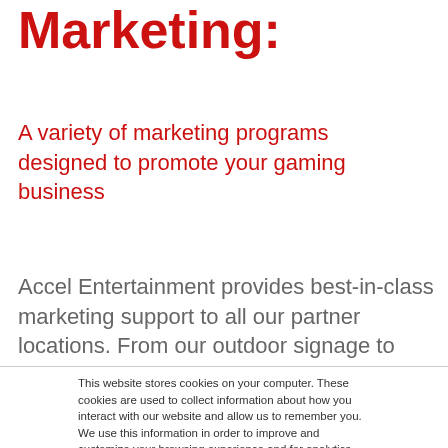Marketing:
A variety of marketing programs designed to promote your gaming business
Accel Entertainment provides best-in-class marketing support to all our partner locations. From our outdoor signage to game room redesign and co-
This website stores cookies on your computer. These cookies are used to collect information about how you interact with our website and allow us to remember you. We use this information in order to improve and customize your browsing experience and for analytics and metrics about our visitors both on this website and other media. To find out more about the cookies we use, see our Privacy Policy.
Accept